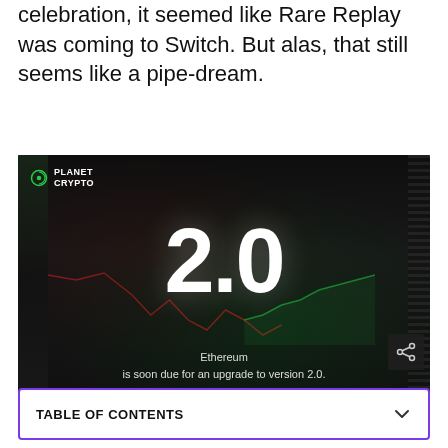celebration, it seemed like Rare Replay was coming to Switch. But alas, that still seems like a pipe-dream.
[Figure (screenshot): Screenshot of a Planet Crypto video showing a trading chart on a laptop screen with large text '2.0' overlaid, and subtitle text reading 'Ethereum is soon due for an upgrade to version 2.0.' A share icon is visible in the bottom right corner.]
| TABLE OF CONTENTS |
| --- |